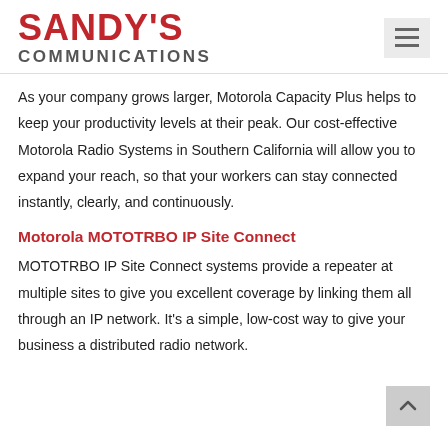[Figure (logo): Sandy's Communications logo with red SANDY'S text and gray COMMUNICATIONS subtext]
As your company grows larger, Motorola Capacity Plus helps to keep your productivity levels at their peak. Our cost-effective Motorola Radio Systems in Southern California will allow you to expand your reach, so that your workers can stay connected instantly, clearly, and continuously.
Motorola MOTOTRBO IP Site Connect
MOTOTRBO IP Site Connect systems provide a repeater at multiple sites to give you excellent coverage by linking them all through an IP network. It’s a simple, low-cost way to give your business a distributed radio network.